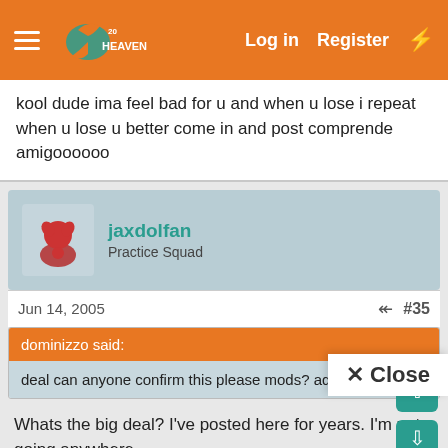HeavensHardware forum header with Log in, Register, lightning bolt
kool dude ima feel bad for u and when u lose i repeat when u lose u better come in and post comprende amigoooooo
jaxdolfan
Practice Squad
Jun 14, 2005  #35
dominizzo said:
deal can anyone confirm this please mods? admins?
Whats the big deal? I've posted here for years. I'm not going anywhere.